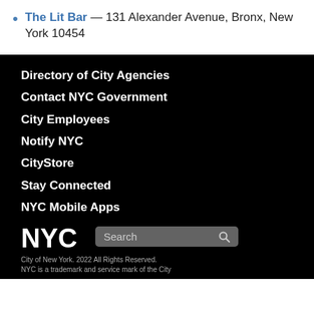The Lit Bar — 131 Alexander Avenue, Bronx, New York 10454
Directory of City Agencies
Contact NYC Government
City Employees
Notify NYC
CityStore
Stay Connected
NYC Mobile Apps
Maps
Resident Toolkit
City of New York. 2022 All Rights Reserved. NYC is a trademark and service mark of the City